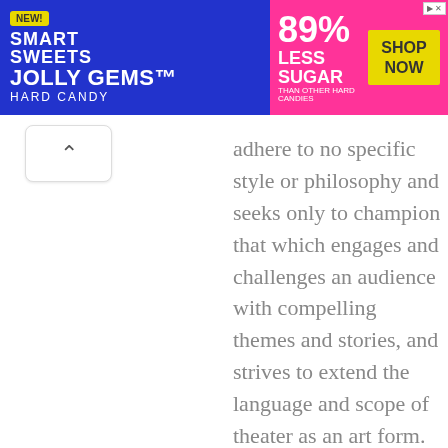[Figure (infographic): SmartSweets Jolly Gems Hard Candy advertisement banner. Blue background on left with candy images, pink background on right showing 89% Less Sugar than other hard candies, with yellow Shop Now button.]
adhere to no specific style or philosophy and seeks only to champion that which engages and challenges an audience with compelling themes and stories, and strives to extend the language and scope of theater as an art form.